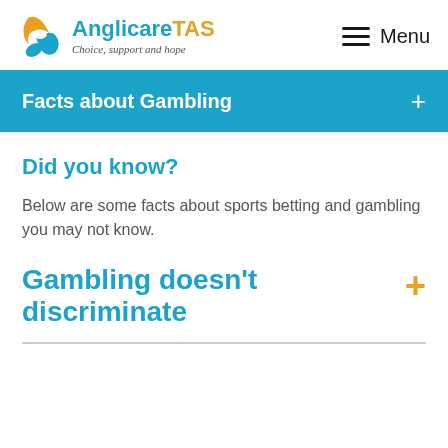[Figure (logo): AnglicareTAS logo with orange/blue stylized A icon, text 'Anglicare TAS' in blue and orange, tagline 'Choice, support and hope' in italic]
Facts about Gambling +
Did you know?
Below are some facts about sports betting and gambling you may not know.
Gambling doesn't discriminate +